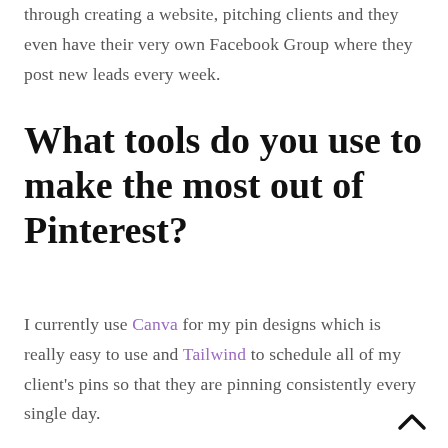through creating a website, pitching clients and they even have their very own Facebook Group where they post new leads every week.
What tools do you use to make the most out of Pinterest?
I currently use Canva for my pin designs which is really easy to use and Tailwind to schedule all of my client's pins so that they are pinning consistently every single day.